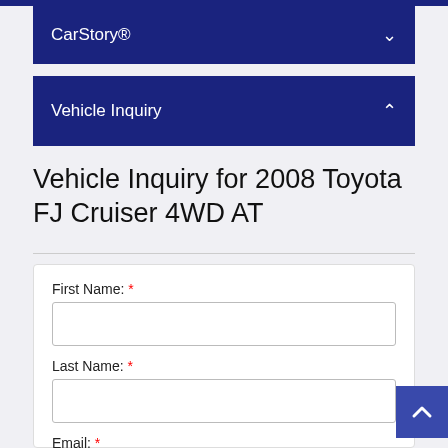CarStory®
Vehicle Inquiry
Vehicle Inquiry for 2008 Toyota FJ Cruiser 4WD AT
First Name: * (input field)
Last Name: * (input field)
Email: * (input field, placeholder: example@example.com)